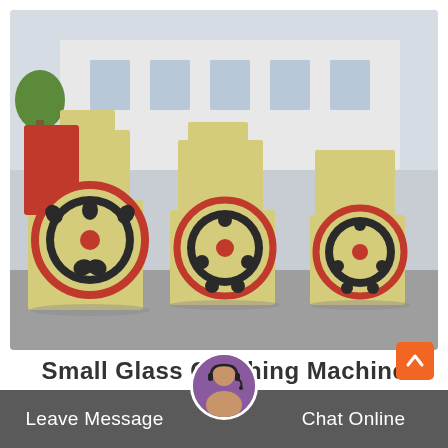[Figure (photo): Three yellow and red jaw crusher machines lined up in an outdoor industrial yard. Each machine has a large flywheel with circular cutouts painted cream/yellow with a red ring. Buildings and trees are visible in the background.]
Small Glass Crushing Machine
Leave Message
Chat Online